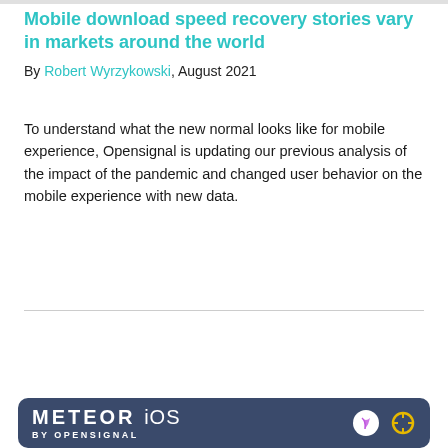Mobile download speed recovery stories vary in markets around the world
By Robert Wyrzykowski, August 2021
To understand what the new normal looks like for mobile experience, Opensignal is updating our previous analysis of the impact of the pandemic and changed user behavior on the mobile experience with new data.
[Figure (other): Read more button — teal/green rounded rectangle with white text 'Read more']
[Figure (illustration): Meteor iOS by Opensignal app promotional banner with dark blue background, white bold text 'METEOR iOS BY OPENSIGNAL', smartphone and app icons visible on right side]